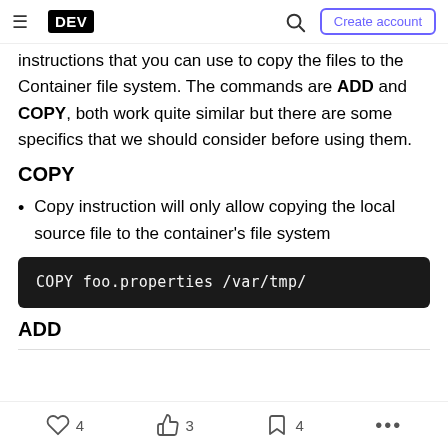DEV | Create account
instructions that you can use to copy the files to the Container file system. The commands are ADD and COPY, both work quite similar but there are some specifics that we should consider before using them.
COPY
Copy instruction will only allow copying the local source file to the container's file system
COPY foo.properties /var/tmp/
ADD
4  3  4  ...